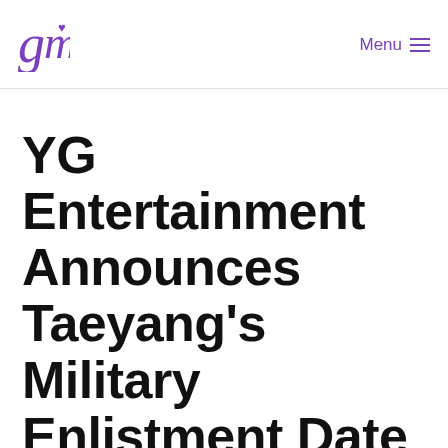gm | Menu
YG Entertainment Announces Taeyang's Military Enlistment Date